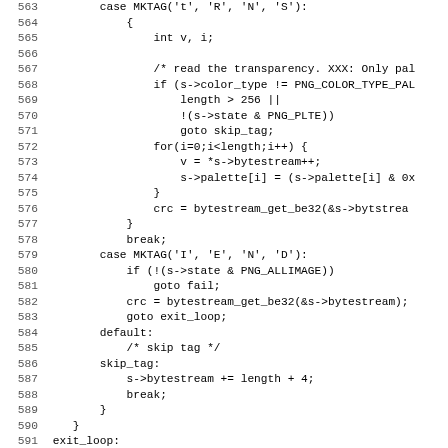[Figure (screenshot): Source code listing showing C code for PNG decoding, lines 563-595, with line numbers on the left and monospace code on the right.]